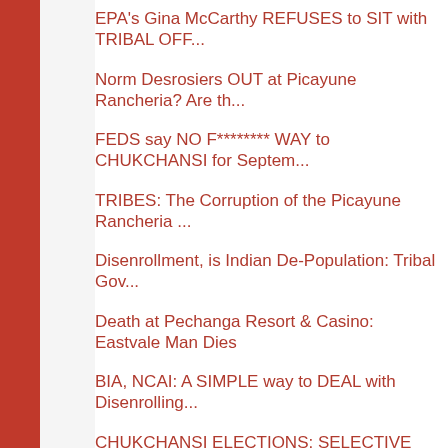EPA's Gina McCarthy REFUSES to SIT with TRIBAL OFF...
Norm Desrosiers OUT at Picayune Rancheria? Are th...
FEDS say NO F******** WAY to CHUKCHANSI for Septem...
TRIBES: The Corruption of the Picayune Rancheria ...
Disenrollment, is Indian De-Population: Tribal Gov...
Death at Pechanga Resort & Casino: Eastvale Man Dies
BIA, NCAI: A SIMPLE way to DEAL with Disenrolling...
CHUKCHANSI ELECTIONS: SELECTIVE AMNESIA on Some C...
Did A COMMENTER To A PALA Post EXPOSE FACTS On MUR...